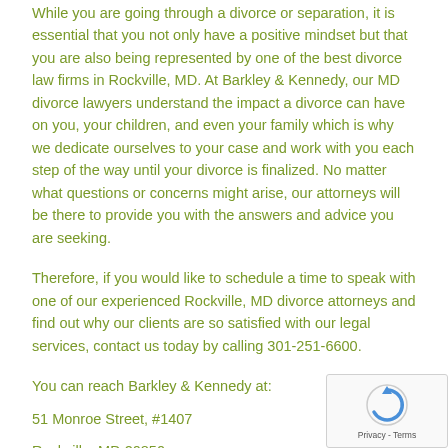While you are going through a divorce or separation, it is essential that you not only have a positive mindset but that you are also being represented by one of the best divorce law firms in Rockville, MD. At Barkley & Kennedy, our MD divorce lawyers understand the impact a divorce can have on you, your children, and even your family which is why we dedicate ourselves to your case and work with you each step of the way until your divorce is finalized. No matter what questions or concerns might arise, our attorneys will be there to provide you with the answers and advice you are seeking.
Therefore, if you would like to schedule a time to speak with one of our experienced Rockville, MD divorce attorneys and find out why our clients are so satisfied with our legal services, contact us today by calling 301-251-6600.
You can reach Barkley & Kennedy at:
51 Monroe Street, #1407
Rockville, MD 20850
301-251-6600
[Figure (other): reCAPTCHA widget showing a circular arrow icon with 'Privacy - Terms' text below]